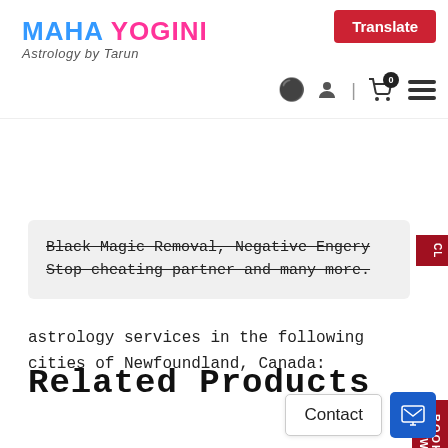MAHA YOGINI Astrology by Tarun
Black Magic Removal, Negative Engery Stop cheating partner and many more.
astrology services in the following cities of Newfoundland, Canada:
Related Products